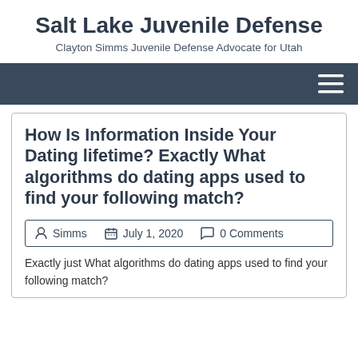Salt Lake Juvenile Defense
Clayton Simms Juvenile Defense Advocate for Utah
How Is Information Inside Your Dating lifetime? Exactly What algorithms do dating apps used to find your following match?
Simms   July 1, 2020   0 Comments
Exactly just What algorithms do dating apps used to find your following match?